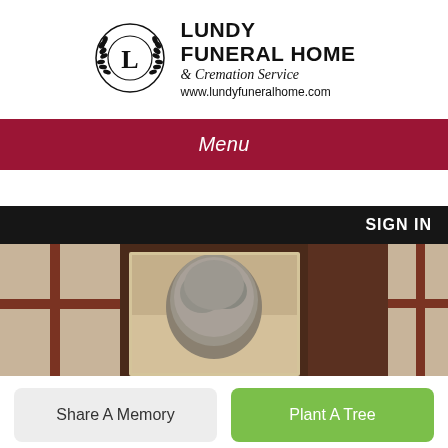[Figure (logo): Lundy Funeral Home logo with laurel wreath emblem containing letter L, bold text LUNDY FUNERAL HOME & Cremation Service, and website www.lundyfuneralhome.com]
Menu
[Figure (photo): Website screenshot showing a tiled background with casket showroom, a centered portrait photo of a person with grey curly hair, and a SIGN IN button in the top right corner]
Share A Memory
Plant A Tree